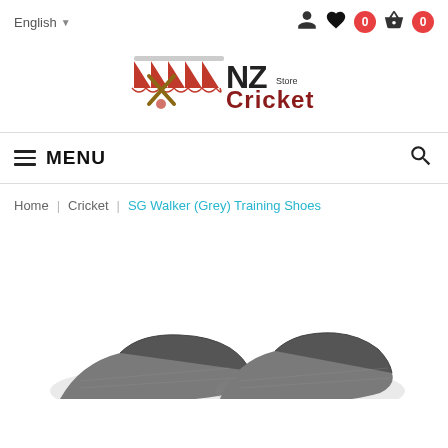English | user icon | wishlist 0 | basket 0
[Figure (logo): NZ Cricket Store logo with striped awning and cricket bats]
MENU
Home | Cricket | SG Walker (Grey) Training Shoes
[Figure (photo): Partial view of grey SG Walker training shoes at bottom of page]